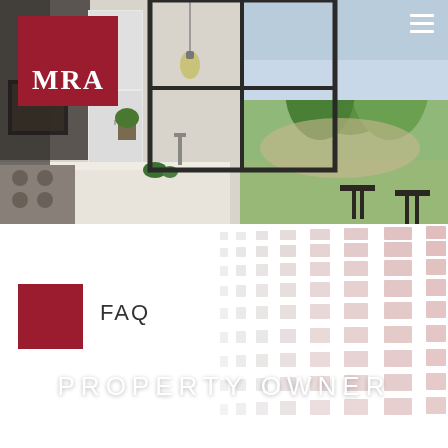[Figure (photo): Hero image of a modern kitchen with island, pendant light, large window looking out to garden with trees, white refrigerator visible]
[Figure (logo): MRA logo - white letters on dark red/crimson square background]
PROPERTY OWNER
[Figure (illustration): Decorative dot grid pattern in grey and pink/red tones on right side]
[Figure (illustration): Solid dark red/crimson square block]
FAQ